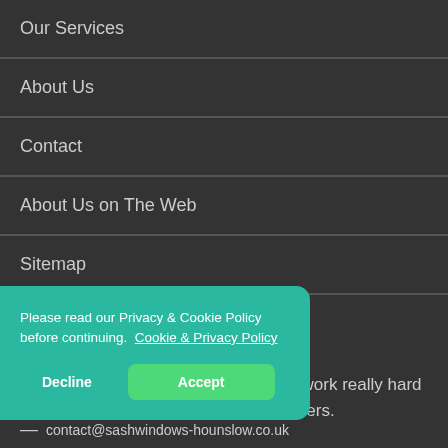Our Services
About Us
Contact
About Us on The Web
Sitemap
CONTACT INFORMATION
Everyday is a new day for us and we work really hard to satisfy our Hounslow based customers.
Please read our Privacy & Cookie Policy before continuing. Cookie & Privacy Policy
contact@sashwindows-hounslow.co.uk